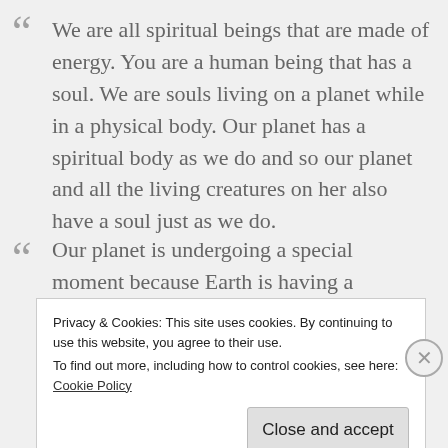We are all spiritual beings that are made of energy. You are a human being that has a soul. We are souls living on a planet while in a physical body. Our planet has a spiritual body as we do and so our planet and all the living creatures on her also have a soul just as we do.
Our planet is undergoing a special moment because Earth is having a birthday. Just like when you have a
Privacy & Cookies: This site uses cookies. By continuing to use this website, you agree to their use. To find out more, including how to control cookies, see here: Cookie Policy
Close and accept